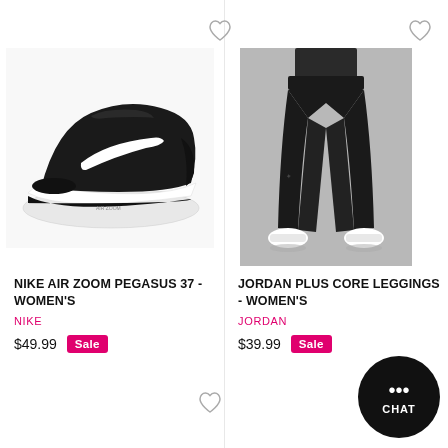[Figure (photo): Nike Air Zoom Pegasus 37 women's running shoe in black with white swoosh on white background]
[Figure (photo): Woman wearing Jordan Plus Core Leggings in black, full body from waist down on grey background]
NIKE AIR ZOOM PEGASUS 37 - WOMEN'S
NIKE
$49.99
Sale
JORDAN PLUS CORE LEGGINGS - WOMEN'S
JORDAN
$39.99
Sale